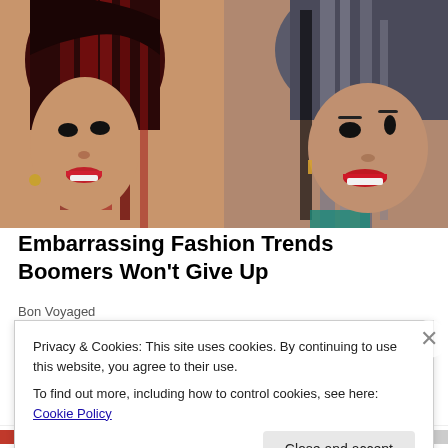[Figure (photo): Two women side by side: left woman has dark red/burgundy straight hair with bangs and red lipstick; right woman has gray/silver straight hair and red lipstick, smiling.]
Embarrassing Fashion Trends Boomers Won't Give Up
Bon Voyaged
Privacy & Cookies: This site uses cookies. By continuing to use this website, you agree to their use.
To find out more, including how to control cookies, see here: Cookie Policy
Close and accept